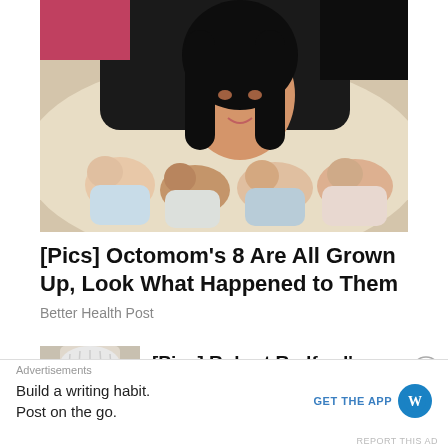[Figure (photo): Woman with long black hair lying with multiple newborn babies on a couch]
[Pics] Octomom's 8 Are All Grown Up, Look What Happened to Them
Better Health Post
[Figure (photo): Partial thumbnail of an older man with white/grey hair]
[Pics] Robert Redford's
Advertisements
Build a writing habit.
Post on the go.
GET THE APP